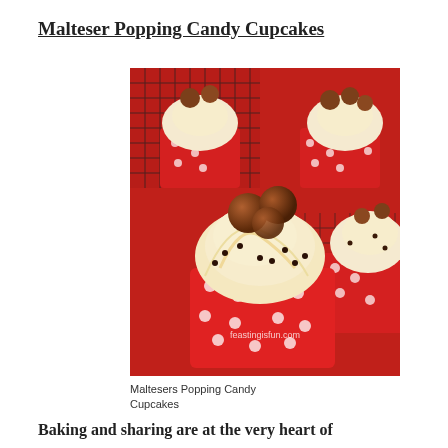Malteser Popping Candy Cupcakes
[Figure (photo): Photo of Malteser Popping Candy Cupcakes in red polka dot cupcake cases with swirled cream frosting topped with Maltesers and chocolate popping candy on a cooling rack over a red background. Watermark reads feastingisfun.com]
Maltesers Popping Candy Cupcakes
Baking and sharing are at the very heart of